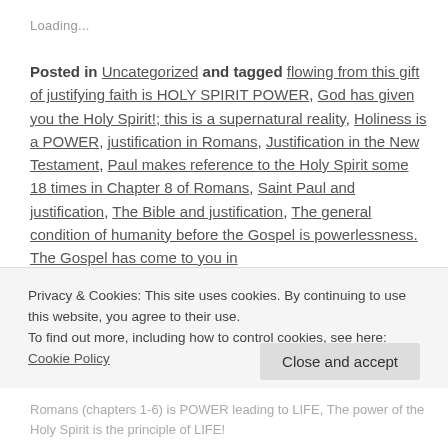Loading...
Posted in Uncategorized and tagged flowing from this gift of justifying faith is HOLY SPIRIT POWER, God has given you the Holy Spirit!; this is a supernatural reality, Holiness is a POWER, justification in Romans, Justification in the New Testament, Paul makes reference to the Holy Spirit some 18 times in Chapter 8 of Romans, Saint Paul and justification, The Bible and justification, The general condition of humanity before the Gospel is powerlessness. The Gospel has come to you in
Privacy & Cookies: This site uses cookies. By continuing to use this website, you agree to their use.
To find out more, including how to control cookies, see here: Cookie Policy
Close and accept
Romans (chapters 1-6) is POWER leading to LIFE, The power of the Holy Spirit is the principle of LIFE!